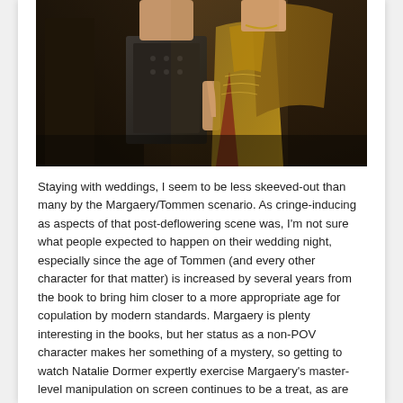[Figure (photo): Two people in ornate medieval-style costumes — a man in dark embroidered armor and a woman in golden embroidered gown and cape — standing together indoors in a dimly lit setting, likely a scene from a fantasy TV show.]
Staying with weddings, I seem to be less skeeved-out than many by the Margaery/Tommen scenario. As cringe-inducing as aspects of that post-deflowering scene was, I'm not sure what people expected to happen on their wedding night, especially since the age of Tommen (and every other character for that matter) is increased by several years from the book to bring him closer to a more appropriate age for copulation by modern standards. Margaery is plenty interesting in the books, but her status as a non-POV character makes her something of a mystery, so getting to watch Natalie Dormer expertly exercise Margaery's master-level manipulation on screen continues to be a treat, as are her scenes with Lena Headey. The whole thing may be